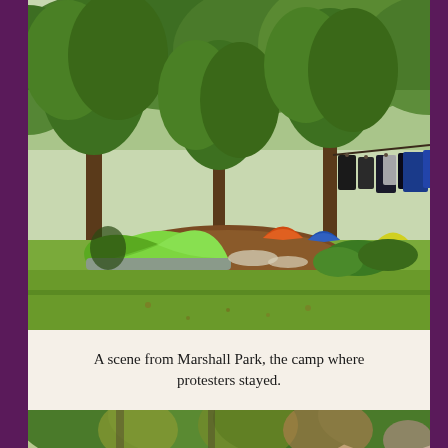[Figure (photo): Outdoor scene from Marshall Park showing a green camping tent in the foreground among trees, with clothes hanging on a line in the background right, and multiple other tents visible in the midground. Green trees fill the upper portion of the image.]
A scene from Marshall Park, the camp where protesters stayed.
[Figure (photo): Partial view of trees and greenery, appearing to be another outdoor scene, cut off at the bottom of the page.]